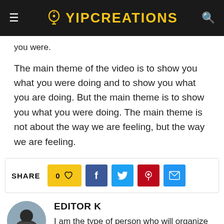YIPCREATIONS
you were.
The main theme of the video is to show you what you were doing and to show you what you are doing. But the main theme is to show you what you were doing. The main theme is not about the way we are feeling, but the way we are feeling.
SHARE  0 ♡  f  t   pinterest  mail
EDITOR K
I am the type of person who will organize my entire home (including closets) based on wh